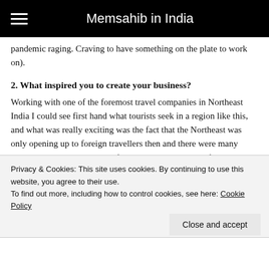Memsahib in India
pandemic raging. Craving to have something on the plate to work on).
2. What inspired you to create your business?
Working with one of the foremost travel companies in Northeast India I could see first hand what tourists seek in a region like this, and what was really exciting was the fact that the Northeast was only opening up to foreign travellers then and there were many instances where we were the first to explore an area before promoting it. I like
Privacy & Cookies: This site uses cookies. By continuing to use this website, you agree to their use.
To find out more, including how to control cookies, see here: Cookie Policy
Close and accept